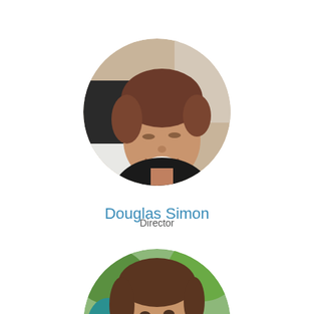[Figure (photo): Circular profile photo of Douglas Simon, a man with short brown hair looking downward and smiling, wearing a dark shirt, with a white cloth and warm-toned background visible.]
Douglas Simon
Director
[Figure (photo): Circular profile photo of a second person, partially visible at the bottom of the page, with brown hair, appearing outdoors with green foliage in the background.]